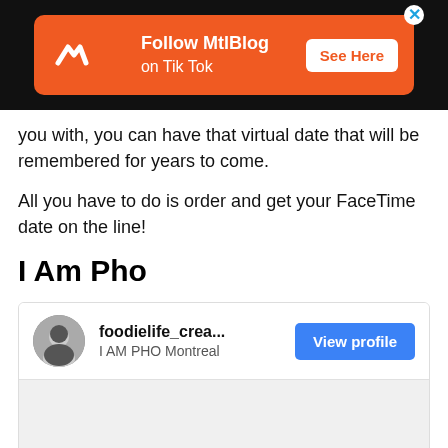[Figure (screenshot): Advertisement banner for MtlBlog on TikTok with orange background, logo, and 'See Here' button]
you with, you can have that virtual date that will be remembered for years to come.
All you have to do is order and get your FaceTime date on the line!
I Am Pho
[Figure (screenshot): Instagram embed card for foodielife_crea... / I AM PHO Montreal with View profile button and gray content area]